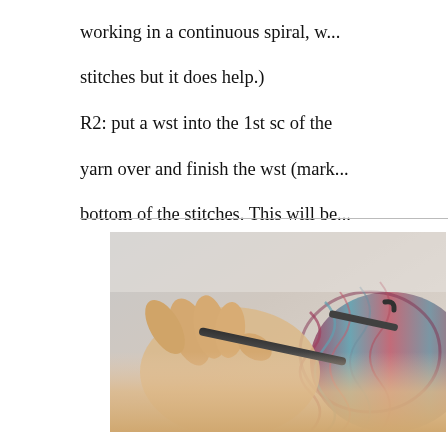working in a continuous spiral, w... stitches but it does help.) R2: put a wst into the 1st sc of the yarn over and finish the wst (mark... bottom of the stitches. This will be...
[Figure (photo): Close-up photo of hands holding a crochet hook working through colorful multicolored yarn in a continuous spiral pattern]
Continue with R2 and the pattern.
Video Tutorials:
Waistcoat stitch tutorial
Waistcoat stitch decrease tutorial
Working into the 3rd back loop
Tailored Tutorials...